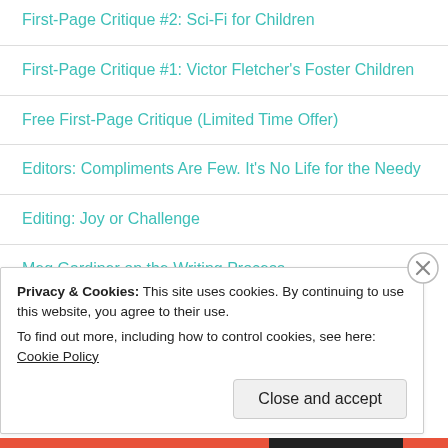First-Page Critique #2: Sci-Fi for Children
First-Page Critique #1: Victor Fletcher's Foster Children
Free First-Page Critique (Limited Time Offer)
Editors: Compliments Are Few. It's No Life for the Needy
Editing: Joy or Challenge
Meg Gardiner on the Writing Process
Privacy & Cookies: This site uses cookies. By continuing to use this website, you agree to their use.
To find out more, including how to control cookies, see here: Cookie Policy
Close and accept